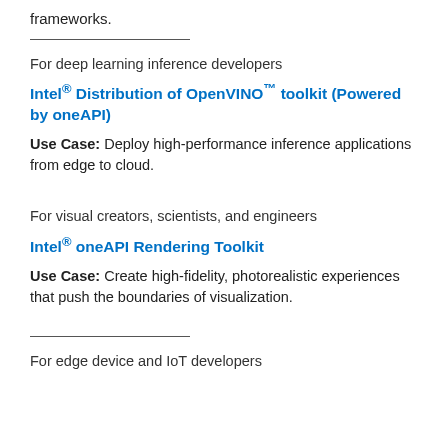frameworks.
For deep learning inference developers
Intel® Distribution of OpenVINO™ toolkit (Powered by oneAPI)
Use Case: Deploy high-performance inference applications from edge to cloud.
For visual creators, scientists, and engineers
Intel® oneAPI Rendering Toolkit
Use Case: Create high-fidelity, photorealistic experiences that push the boundaries of visualization.
For edge device and IoT developers